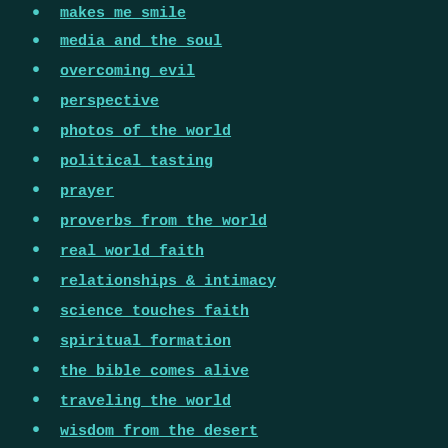makes me smile
media and the soul
overcoming evil
perspective
photos of the world
political tasting
prayer
proverbs from the world
real world faith
relationships & intimacy
science touches faith
spiritual formation
the bible comes alive
traveling the world
wisdom from the desert